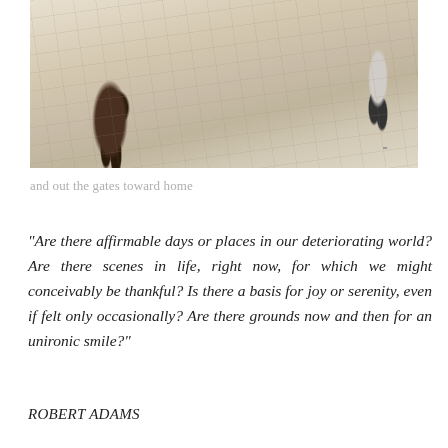[Figure (photo): Aerial/elevated view of a cobblestone or paved plaza with two people walking. One person in a dark brown coat with backpack on the left side, another person in light clothing on the right. A circular arc is drawn on the ground. Warm beige and tan tones throughout.]
and out the gates toward home
“Are there affirmable days or places in our deteriorating world? Are there scenes in life, right now, for which we might conceivably be thankful? Is there a basis for joy or serenity, even if felt only occasionally? Are there grounds now and then for an unironic smile?”
ROBERT ADAMS